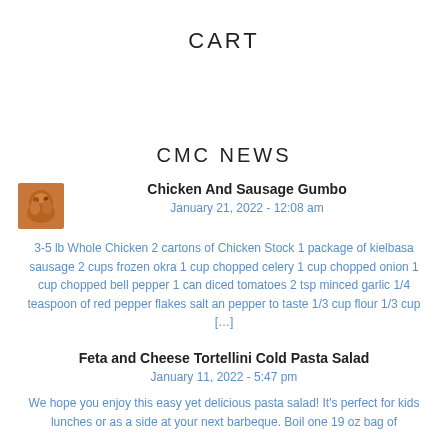CART
CMC NEWS
Chicken And Sausage Gumbo
January 21, 2022 - 12:08 am
3-5 lb Whole Chicken 2 cartons of Chicken Stock 1 package of kielbasa sausage 2 cups frozen okra 1 cup chopped celery 1 cup chopped onion 1 cup chopped bell pepper 1 can diced tomatoes 2 tsp minced garlic 1/4 teaspoon of red pepper flakes salt an pepper to taste 1/3 cup flour 1/3 cup [...]
Feta and Cheese Tortellini Cold Pasta Salad
January 11, 2022 - 5:47 pm
We hope you enjoy this easy yet delicious pasta salad! It's perfect for kids lunches or as a side at your next barbeque. Boil one 19 oz bag of